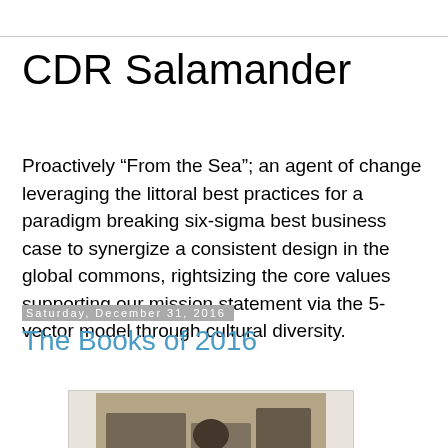CDR Salamander
Proactively “From the Sea”; an agent of change leveraging the littoral best practices for a paradigm breaking six-sigma best business case to synergize a consistent design in the global commons, rightsizing the core values supporting our mission statement via the 5-vector model through cultural diversity.
Saturday, December 31, 2016
The Books of 2016
[Figure (photo): Old black-and-white or sepia-toned photograph showing a person, possibly in a trench or excavation, in a historical military or archaeological context.]